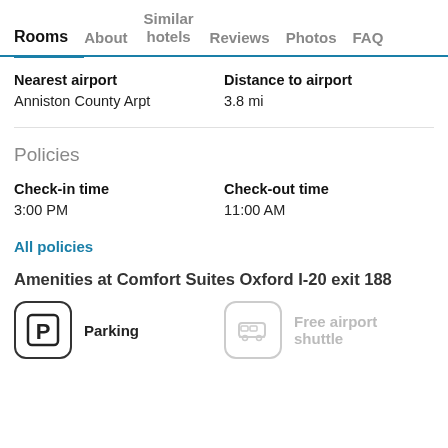Rooms  About  Similar hotels  Reviews  Photos  FAQ
Nearest airport
Anniston County Arpt
Distance to airport
3.8 mi
Policies
Check-in time
3:00 PM
Check-out time
11:00 AM
All policies
Amenities at Comfort Suites Oxford I-20 exit 188
Parking
Free airport shuttle